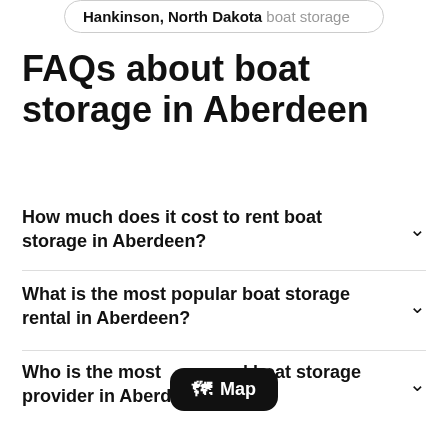Hankinson, North Dakota boat storage
FAQs about boat storage in Aberdeen
How much does it cost to rent boat storage in Aberdeen?
What is the most popular boat storage rental in Aberdeen?
Who is the most trusted boat storage provider in Aberdeen?